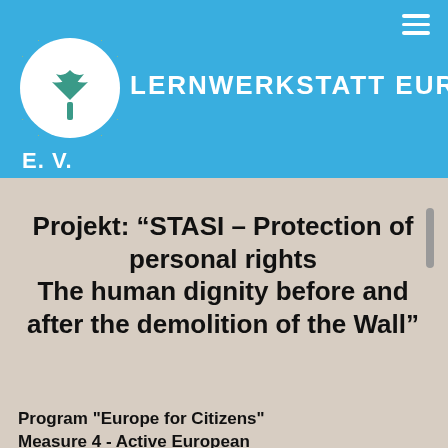[Figure (logo): Lernwerkstatt Europa e.V. logo: a white circle with a stylized teal tree and yellow stars arranged in a ring, with the organization name in white bold caps to the right and 'E.V.' below]
Projekt: “STASI – Protection of personal rights The human dignity before and after the demolition of the Wall”
Program "Europe for Citizens" Measure 4 - Active European memory
Koordinator: Recht in Europa e.V.